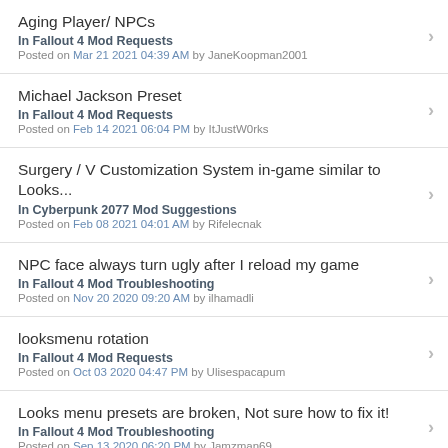Aging Player/ NPCs
In Fallout 4 Mod Requests
Posted on Mar 21 2021 04:39 AM by JaneKoopman2001
Michael Jackson Preset
In Fallout 4 Mod Requests
Posted on Feb 14 2021 06:04 PM by ItJustW0rks
Surgery / V Customization System in-game similar to Looks...
In Cyberpunk 2077 Mod Suggestions
Posted on Feb 08 2021 04:01 AM by Rifelecnak
NPC face always turn ugly after I reload my game
In Fallout 4 Mod Troubleshooting
Posted on Nov 20 2020 09:20 AM by ilhamadli
looksmenu rotation
In Fallout 4 Mod Requests
Posted on Oct 03 2020 04:47 PM by Ulisespacapum
Looks menu presets are broken, Not sure how to fix it!
In Fallout 4 Mod Troubleshooting
Posted on Sep 13 2020 06:20 PM by Jamzman69